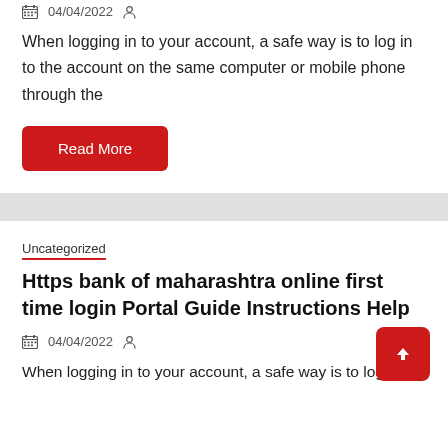04/04/2022
When logging in to your account, a safe way is to log in to the account on the same computer or mobile phone through the
Read More
Uncategorized
Https bank of maharashtra online first time login Portal Guide Instructions Help
04/04/2022
When logging in to your account, a safe way is to log in